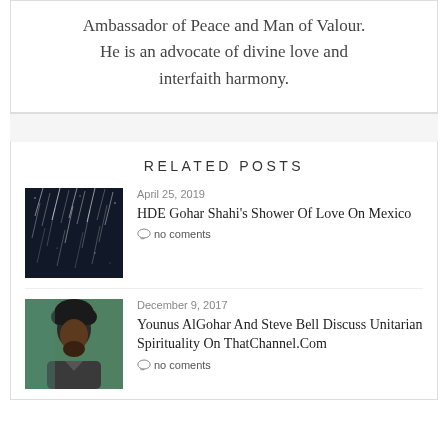Ambassador of Peace and Man of Valour. He is an advocate of divine love and interfaith harmony.
RELATED POSTS
[Figure (photo): Dark background with falling light streaks resembling shooting stars or meteor shower]
April 25, 2019
HDE Gohar Shahi's Shower Of Love On Mexico
no coments
[Figure (photo): Photo of a man with dark curly hair and beard wearing a jacket, against a teal/green background]
December 9, 2017
Younus AlGohar And Steve Bell Discuss Unitarian Spirituality On ThatChannel.Com
no coments